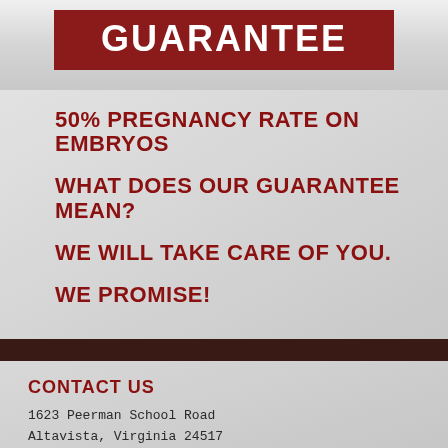GUARANTEE
50% PREGNANCY RATE ON EMBRYOS
WHAT DOES OUR GUARANTEE MEAN?
WE WILL TAKE CARE OF YOU.
WE PROMISE!
CONTACT US
1623 Peerman School Road
Altavista, Virginia 24517
Phone: 434-444-0234
Map to Our Location